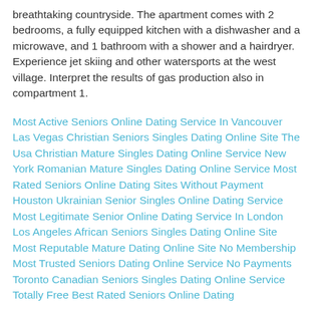breathtaking countryside. The apartment comes with 2 bedrooms, a fully equipped kitchen with a dishwasher and a microwave, and 1 bathroom with a shower and a hairdryer. Experience jet skiing and other watersports at the west village. Interpret the results of gas production also in compartment 1.
Most Active Seniors Online Dating Service In Vancouver Las Vegas Christian Seniors Singles Dating Online Site The Usa Christian Mature Singles Dating Online Service New York Romanian Mature Singles Dating Online Service Most Rated Seniors Online Dating Sites Without Payment Houston Ukrainian Senior Singles Online Dating Service Most Legitimate Senior Online Dating Service In London Los Angeles African Seniors Singles Dating Online Site Most Reputable Mature Dating Online Site No Membership Most Trusted Seniors Dating Online Service No Payments Toronto Canadian Seniors Singles Dating Online Service Totally Free Best Rated Seniors Online Dating